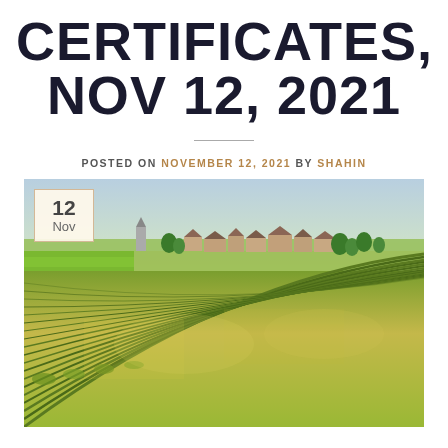CERTIFICATES, NOV 12, 2021
POSTED ON NOVEMBER 12, 2021 BY SHAHIN
[Figure (photo): Aerial view of extensive vineyard rows stretching into the distance with a small French village and church visible in the background under a partly cloudy sky. A date badge showing '12 Nov' overlays the top-left corner of the image.]